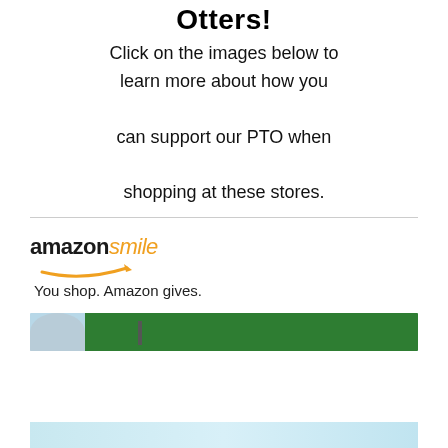Otters!
Click on the images below to learn more about how you can support our PTO when shopping at these stores.
[Figure (logo): Amazon Smile logo with text 'amazon smile' and tagline 'You shop. Amazon gives.' with orange arrow/smile graphic]
[Figure (photo): Partial image with light blue background and green banner, partially visible at bottom of page]
[Figure (photo): Partial image at very bottom of page with light blue/teal tones, cut off]